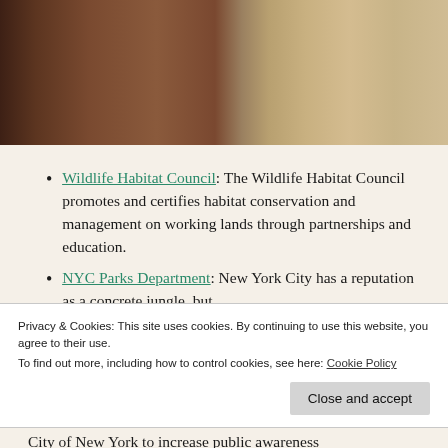[Figure (photo): Close-up photo of wooden surfaces — dark brown wood on the left portion and lighter tan/beige wood grain on the right portion.]
Wildlife Habitat Council: The Wildlife Habitat Council promotes and certifies habitat conservation and management on working lands through partnerships and education.
NYC Parks Department: New York City has a reputation as a concrete jungle, but
Privacy & Cookies: This site uses cookies. By continuing to use this website, you agree to their use. To find out more, including how to control cookies, see here: Cookie Policy
City of New York to increase public awareness